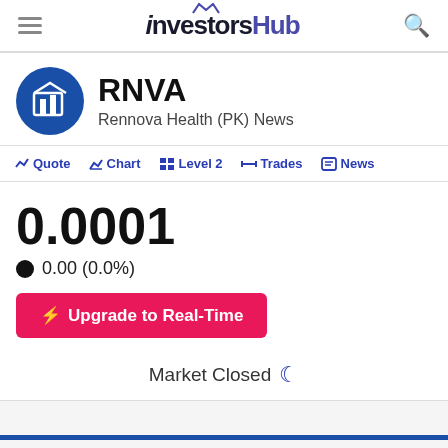investorsHub
RNVA — Rennova Health (PK) News
Quote | Chart | Level 2 | Trades | News
0.0001
0.00 (0.0%)
Upgrade to Real-Time
Market Closed